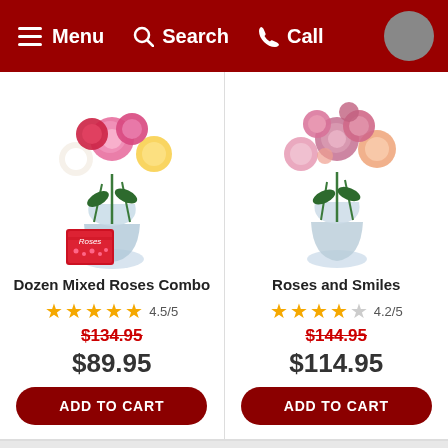Menu  Search  Call
[Figure (photo): Dozen Mixed Roses Combo - bouquet of mixed roses with chocolates in glass vase]
Dozen Mixed Roses Combo
4.5/5
$134.95 (original price, strikethrough)
$89.95
ADD TO CART
[Figure (photo): Roses and Smiles - pink and peach roses bouquet in glass vase]
Roses and Smiles
4.2/5
$144.95 (original price, strikethrough)
$114.95
ADD TO CART
[Figure (photo): Pink and yellow roses bouquet in glass vase]
[Figure (photo): Partial red curved shape, partially cut off on right side]